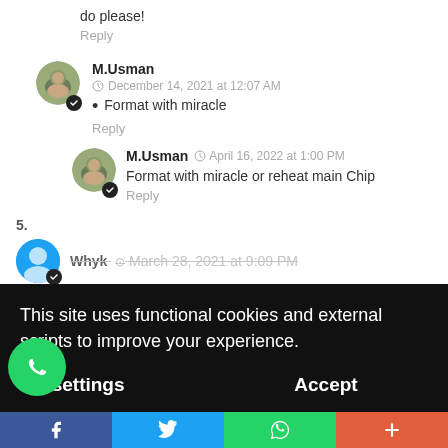do please!
Reply
M.Usman
December 14, 2021 at 12:07 AM
Format with miracle
Reply
M.Usman  April 16, 2022 at 1:00 PM
Format with miracle or reheat main Chip
Reply
5.
Whyk  March 28, 2021 at 9:09 PM
This site uses functional cookies and external scripts to improve your experience.
My settings
Accept